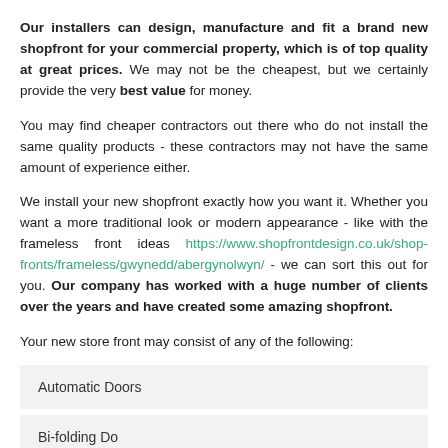Our installers can design, manufacture and fit a brand new shopfront for your commercial property, which is of top quality at great prices. We may not be the cheapest, but we certainly provide the very best value for money.
You may find cheaper contractors out there who do not install the same quality products - these contractors may not have the same amount of experience either.
We install your new shopfront exactly how you want it. Whether you want a more traditional look or modern appearance - like with the frameless front ideas https://www.shopfrontdesign.co.uk/shop-fronts/frameless/gwynedd/abergynolwyn/ - we can sort this out for you. Our company has worked with a huge number of clients over the years and have created some amazing shopfront.
Your new store front may consist of any of the following:
Automatic Doors
Bi-folding Do...